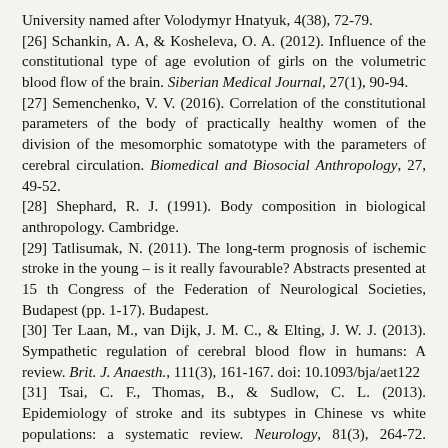University named after Volodymyr Hnatyuk, 4(38), 72-79. [26] Schankin, A. A, & Kosheleva, O. A. (2012). Influence of the constitutional type of age evolution of girls on the volumetric blood flow of the brain. Siberian Medical Journal, 27(1), 90-94. [27] Semenchenko, V. V. (2016). Correlation of the constitutional parameters of the body of practically healthy women of the division of the mesomorphic somatotype with the parameters of cerebral circulation. Biomedical and Biosocial Anthropology, 27, 49-52. [28] Shephard, R. J. (1991). Body composition in biological anthropology. Cambridge. [29] Tatlisumak, N. (2011). The long-term prognosis of ischemic stroke in the young – is it really favourable? Abstracts presented at 15 th Congress of the Federation of Neurological Societies, Budapest (pp. 1-17). Budapest. [30] Ter Laan, M., van Dijk, J. M. C., & Elting, J. W. J. (2013). Sympathetic regulation of cerebral blood flow in humans: A review. Brit. J. Anaesth., 111(3), 161-167. doi: 10.1093/bja/aet122 [31] Tsai, C. F., Thomas, B., & Sudlow, C. L. (2013). Epidemiology of stroke and its subtypes in Chinese vs white populations: a systematic review. Neurology, 81(3), 264-72. doi:10.1212/WNL.0b013e31829bfde3